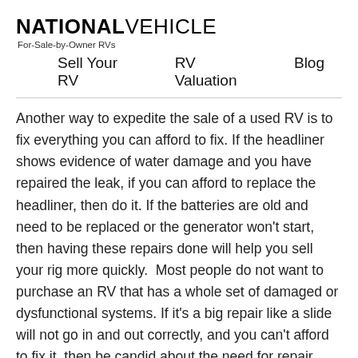NATIONAL VEHICLE
For-Sale-by-Owner RVs
Sell Your RV   RV Valuation   Blog
Another way to expedite the sale of a used RV is to fix everything you can afford to fix. If the headliner shows evidence of water damage and you have repaired the leak, if you can afford to replace the headliner, then do it. If the batteries are old and need to be replaced or the generator won't start, then having these repairs done will help you sell your rig more quickly.  Most people do not want to purchase an RV that has a whole set of damaged or dysfunctional systems. If it's a big repair like a slide will not go in and out correctly, and you can't afford to fix it, then be candid about the need for repair. Additionally, there are a few cosmetic repairs, that can impact your RV's value. If the door or window screens are damaged, they are relatively easy and inexpensive to replace.  The covers over the rooftop air